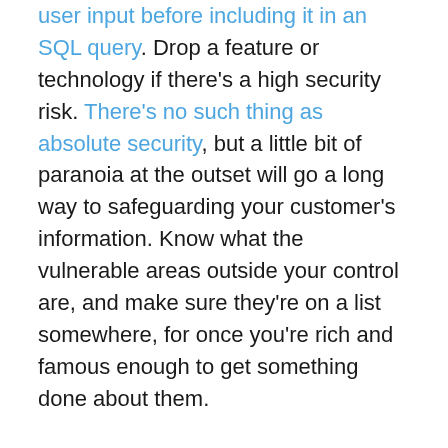user input before including it in an SQL query. Drop a feature or technology if there's a high security risk. There's no such thing as absolute security, but a little bit of paranoia at the outset will go a long way to safeguarding your customer's information. Know what the vulnerable areas outside your control are, and make sure they're on a list somewhere, for once you're rich and famous enough to get something done about them.
Now Facebook's in that position, I really hope they're lobbying hard for a secure foundation for browser-based apps. For example, an expanded and standardized version of the IE-only "security='restricted'" attribute could prevent a script in one element from touching anything outside itself in the document. They're trying to build a sandbox through script-scrubbing, but the only sure-fire way to do that is within the browser. They have a window